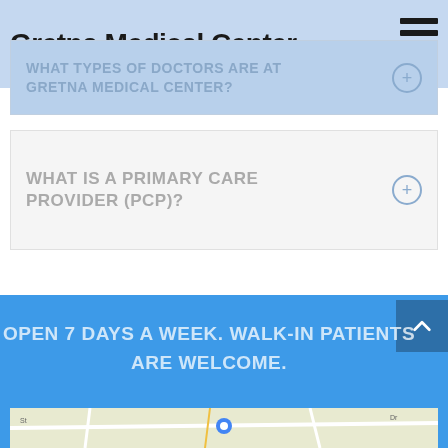Gretna Medical Center
WHAT TYPES OF DOCTORS ARE AT GRETNA MEDICAL CENTER?
WHAT IS A PRIMARY CARE PROVIDER (PCP)?
OPEN 7 DAYS A WEEK. WALK-IN PATIENTS ARE WELCOME.
[Figure (map): Partial map view at bottom of page]